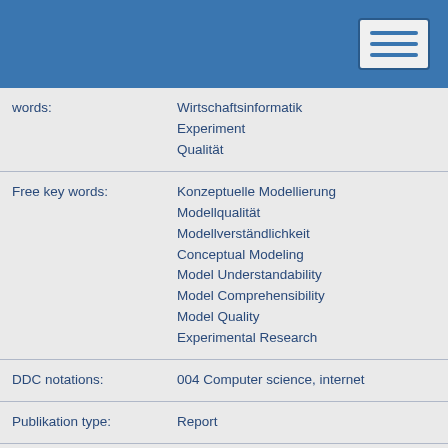| Field | Value |
| --- | --- |
| words: | Wirtschaftsinformatik
Experiment
Qualität |
| Free key words: | Konzeptuelle Modellierung
Modellqualität
Modellverständlichkeit
Conceptual Modeling
Model Understandability
Model Comprehensibility
Model Quality
Experimental Research |
| DDC notations: | 004 Computer science, internet |
| Publikation type: | Report |
| Abstract: | Investigating and improving the quality of conceptual models has gained tremendous |